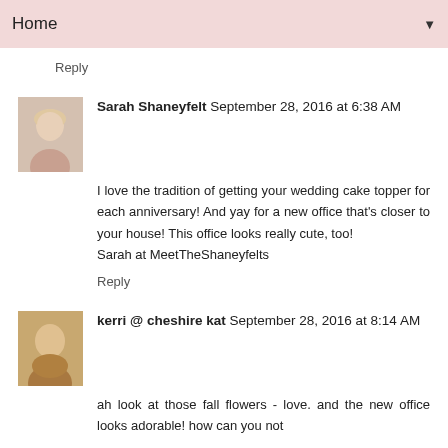Home ▼
Reply
Sarah Shaneyfelt September 28, 2016 at 6:38 AM
I love the tradition of getting your wedding cake topper for each anniversary! And yay for a new office that's closer to your house! This office looks really cute, too!
Sarah at MeetTheShaneyfelts
Reply
kerri @ cheshire kat September 28, 2016 at 8:14 AM
ah look at those fall flowers - love. and the new office looks adorable! how can you not